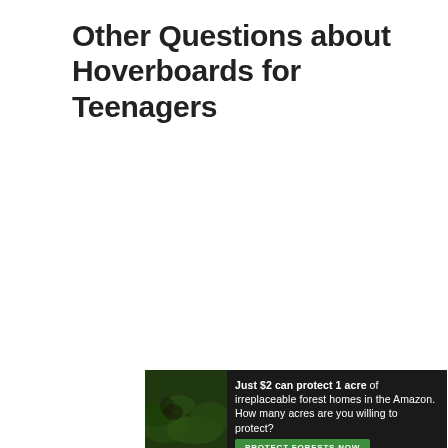Other Questions about Hoverboards for Teenagers
[Figure (infographic): Advertisement banner with dark forest background image on left, white text on dark background reading 'Just $2 can protect 1 acre of irreplaceable forest homes in the Amazon. How many acres are you willing to protect?' and a green button labeled 'PROTECT FORESTS NOW']